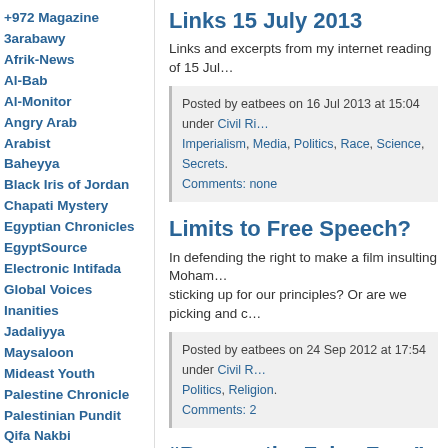+972 Magazine
3arabawy
Afrik-News
Al-Bab
Al-Monitor
Angry Arab
Arabist
Baheyya
Black Iris of Jordan
Chapati Mystery
Egyptian Chronicles
EgyptSource
Electronic Intifada
Global Voices
Inanities
Jadaliyya
Maysaloon
Mideast Youth
Palestine Chronicle
Palestinian Pundit
Qifa Nakbi
Qunfuz
Race for Iran
Sandmonkey
Saudi Jeans
Links 15 July 2013
Links and excerpts from my internet reading of 15 July...
Posted by eatbees on 16 Jul 2013 at 15:04 under Civil Ri... Imperialism, Media, Politics, Race, Science, Secrets. Comments: none
Limits to Free Speech?
In defending the right to make a film insulting Mohamm... sticking up for our principles? Or are we picking and c...
Posted by eatbees on 24 Sep 2012 at 17:54 under Civil R... Politics, Religion. Comments: 2
“Beware the False Fury”
“This is a different season—this is the season of the C... Arab Spring—do not be fooled by these zealotries of t...